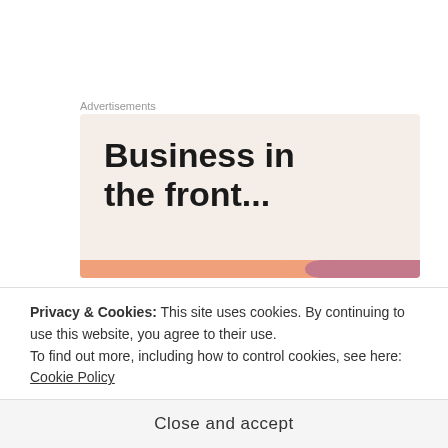Advertisements
[Figure (illustration): Advertisement banner with large bold text 'Business in the front...' on a light pink/beige background with a colorful stripe at the bottom in orange and mauve.]
I can only pray and yearn desperately for my prayer to be answered: may I never forget where I came from.
I shall be better than my bosses, in sha Allah!
Privacy & Cookies: This site uses cookies. By continuing to use this website, you agree to their use.
To find out more, including how to control cookies, see here: Cookie Policy
Close and accept